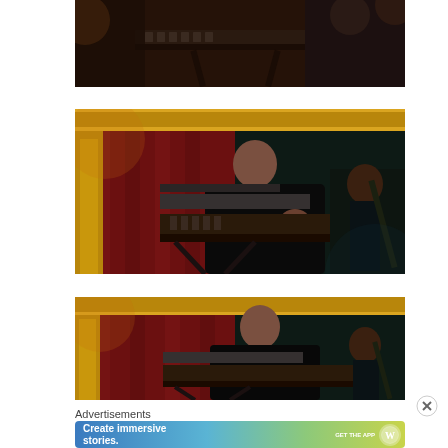[Figure (photo): Musicians on stage, keyboard player visible from above, dark clothing, concert setting]
[Figure (photo): Bald musician in black shirt playing keyboard on stage with ornate gold frame backdrop, another musician with guitar visible in background]
[Figure (photo): Same bald musician in black shirt playing keyboard on stage, similar angle to second photo]
Advertisements
[Figure (other): WordPress advertisement banner: Create immersive stories. GET THE APP with WordPress logo]